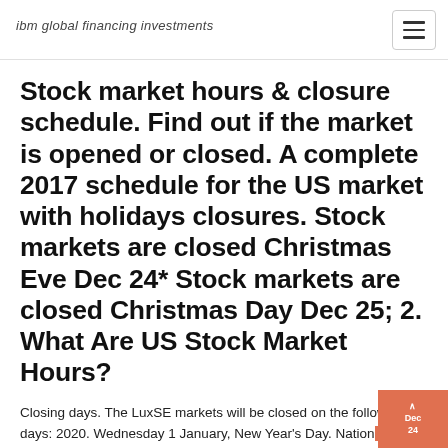ibm global financing investments
Stock market hours & closure schedule. Find out if the market is opened or closed. A complete 2017 schedule for the US market with holidays closures. Stock markets are closed Christmas Eve Dec 24* Stock markets are closed Christmas Day Dec 25; 2. What Are US Stock Market Hours?
Closing days. The LuxSE markets will be closed on the following days: 2020. Wednesday 1 January, New Year's Day. Nation Dec 24, 2019 1:52 PM EST. President Donald Trump...